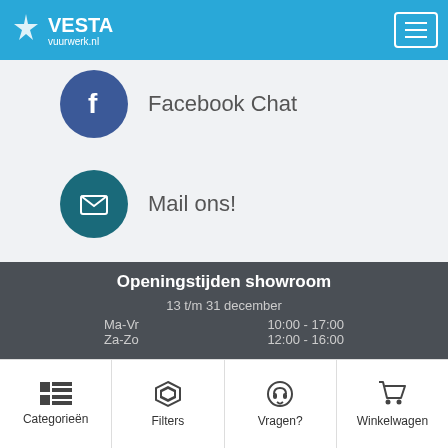Vesta Vuurwerk.nl
Facebook Chat
Mail ons!
Openingstijden showroom
13 t/m 31 december
Ma-Vr    10:00 - 17:00
Za-Zo    12:00 - 16:00
Categorieën  Filters  Vragen?  Winkelwagen